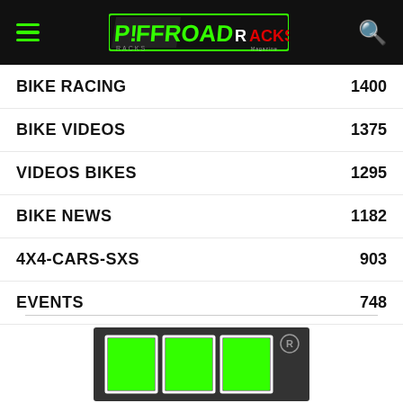OFFROAD RACKS — navigation header with hamburger menu and search icon
BIKE RACING 1400
BIKE VIDEOS 1375
VIDEOS BIKES 1295
BIKE NEWS 1182
4X4-CARS-SxS 903
EVENTS 748
4X4 VIDEOS 708
[Figure (logo): Offroad Racks logo on dark background with three green rectangles and R registered trademark symbol]